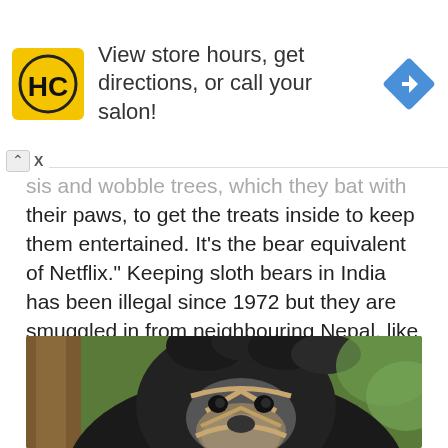[Figure (screenshot): Advertisement banner for HC (Hair Club) salon: yellow square logo with HC text, ad copy 'View store hours, get directions, or call your salon!', and a blue navigation diamond icon on the right.]
...sis and wobble trees, which they bat with their paws, to get the treats inside to keep them entertained. It's the bear equivalent of Netflix." Keeping sloth bears in India has been illegal since 1972 but they are smuggled in from neighbouring Nepal, like IAR's two new bears.
[Figure (photo): Close-up photo of a sloth bear with a muzzle/harness on its face, dark fur, looking at the camera. Background shows blurred green foliage and tree trunk.]